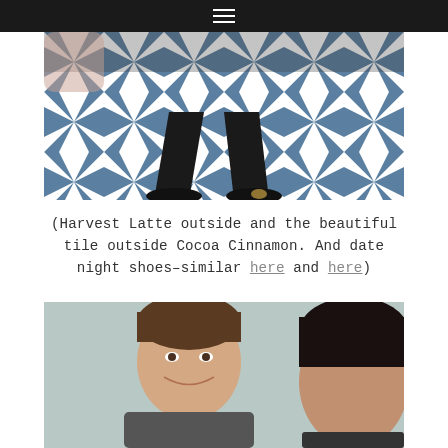☰
[Figure (photo): Looking down at feet wearing black shoes with gold toe detail, standing on geometric blue and white patterned tile floor]
(Harvest Latte outside and the beautiful tile outside Cocoa Cinnamon. And date night shoes–similar here and here)
[Figure (photo): Selfie of a couple – man with brown hair smiling on the left, woman with dark hair partially visible on the right, against a light teal/grey wall]